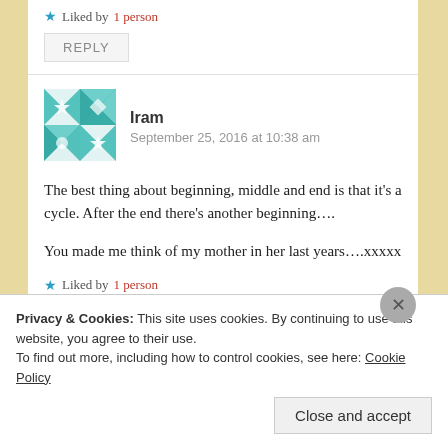★ Liked by 1 person
REPLY
Iram
September 25, 2016 at 10:38 am
The best thing about beginning, middle and end is that it's a cycle. After the end there's another beginning….
You made me think of my mother in her last years….xxxxx
★ Liked by 1 person
Privacy & Cookies: This site uses cookies. By continuing to use this website, you agree to their use.
To find out more, including how to control cookies, see here: Cookie Policy
Close and accept